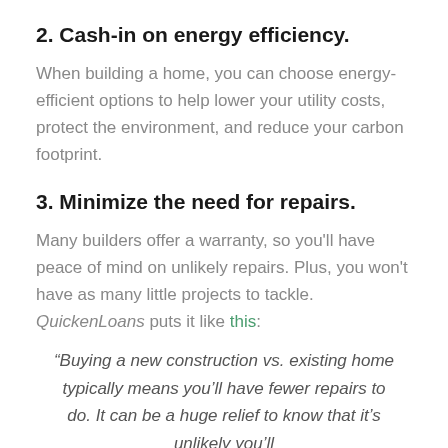2. Cash-in on energy efficiency.
When building a home, you can choose energy-efficient options to help lower your utility costs, protect the environment, and reduce your carbon footprint.
3. Minimize the need for repairs.
Many builders offer a warranty, so you’ll have peace of mind on unlikely repairs. Plus, you won’t have as many little projects to tackle. QuickenLoans puts it like this:
“Buying a new construction vs. existing home typically means you’ll have fewer repairs to do. It can be a huge relief to know that it’s unlikely you’ll